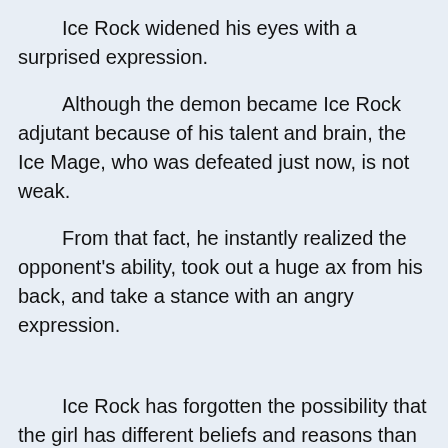Ice Rock widened his eyes with a surprised expression.
Although the demon became Ice Rock adjutant because of his talent and brain, the Ice Mage, who was defeated just now, is not weak.
From that fact, he instantly realized the opponent's ability, took out a huge ax from his back, and take a stance with an angry expression.
Ice Rock has forgotten the possibility that the girl has different beliefs and reasons than him, the possibility that she is the enemy...
No, he wouldn't have noticed in the first place.